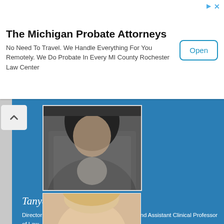The Michigan Probate Attorneys
No Need To Travel. We Handle Everything For You Remotely. We Do Probate In Every MI County Rochester Law Center
[Figure (photo): Partially visible photo of a woman in a grey/black knit jacket, cropped at the top of the card]
Tanya Asim Cooper
Director of the Restoration and Justice Clinic and Assistant Clinical Professor of Law
Pepperdine School of Law
Profile
Email
SSRN Author Page
[Figure (photo): Partially visible photo of a blonde woman, cropped at the bottom of the visible area]